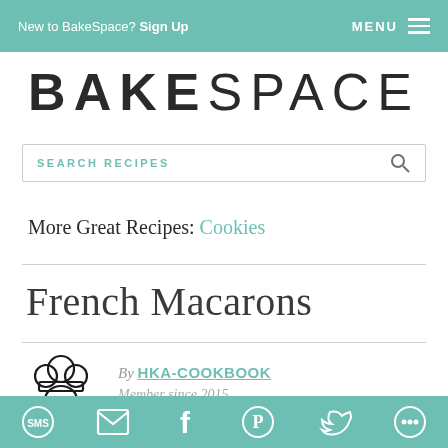New to BakeSpace? Sign Up   MENU
BAKESPACE
SEARCH RECIPES
More Great Recipes: Cookies
French Macarons
[Figure (illustration): Chef mascot illustration - a cartoon chef figure with a chef hat]
By HKA-COOKBOOK
Member since 2015
SMS  Email  Facebook  Pinterest  Twitter  Other